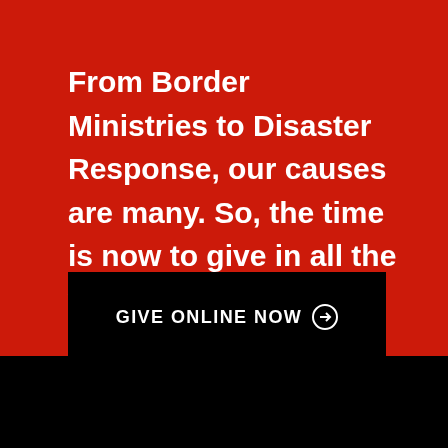From Border Ministries to Disaster Response, our causes are many. So, the time is now to give in all the ways that we can.
GIVE ONLINE NOW →